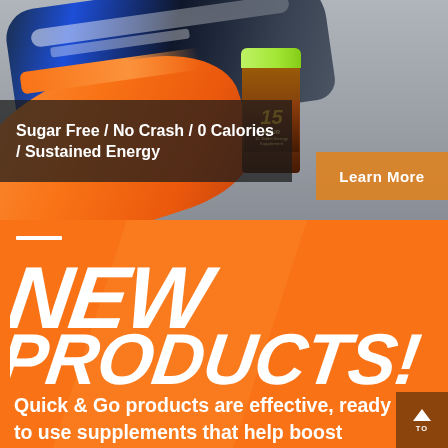[Figure (photo): Photo of orange running shoe and supplement can (labeled '15') on grey ground surface, with dark semi-transparent overlay showing product tagline text and an orange 'Learn More' button.]
Sugar Free / No Crash / 0 Calories / Sustained Energy
Learn More
NEW PRODUCTS!
Quick & Go products are effective, ready to use supplements that help boost energy levels, increase focus, help provide a good